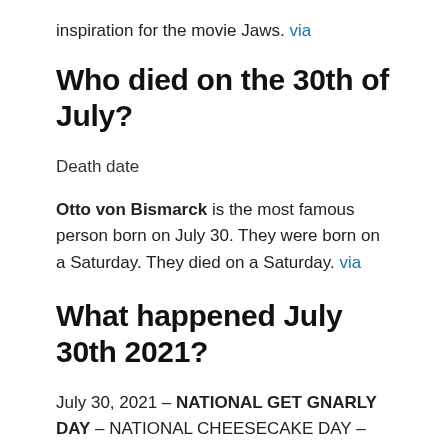inspiration for the movie Jaws. via
Who died on the 30th of July?
Death date
Otto von Bismarck is the most famous person born on July 30. They were born on a Saturday. They died on a Saturday. via
What happened July 30th 2021?
July 30, 2021 – NATIONAL GET GNARLY DAY – NATIONAL CHEESECAKE DAY – NATIONAL SYSTEM